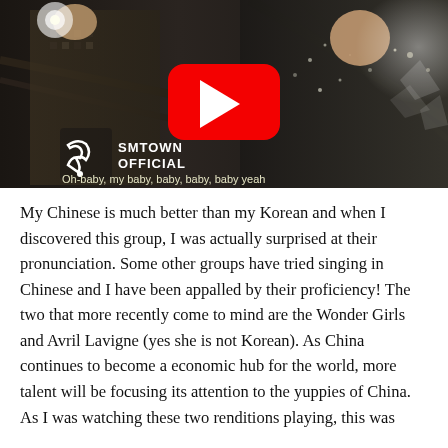[Figure (screenshot): YouTube video thumbnail showing two young male performers in stylized outfits against a dark industrial background. The YouTube play button (red with white triangle) is centered. In the lower left, the SMTOWN OFFICIAL logo is shown (a white stylized 'SM' icon with the text 'SMTOWN OFFICIAL'). A subtitle reads: 'Oh-baby, my baby, baby, baby, baby, yeah']
My Chinese is much better than my Korean and when I discovered this group, I was actually surprised at their pronunciation. Some other groups have tried singing in Chinese and I have been appalled by their proficiency! The two that more recently come to mind are the Wonder Girls and Avril Lavigne (yes she is not Korean). As China continues to become a economic hub for the world, more talent will be focusing its attention to the yuppies of China. As I was watching these two renditions playing, this was